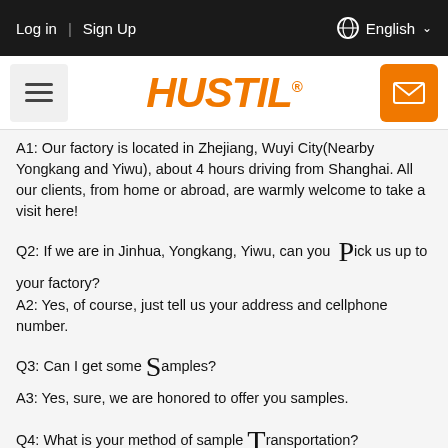Log in | Sign Up   English
[Figure (logo): HUSTIL brand logo in orange italic bold text with registered trademark symbol, hamburger menu icon on left, email envelope icon on right]
A1: Our factory is located in Zhejiang, Wuyi City(Nearby Yongkang and Yiwu), about 4 hours driving from Shanghai. All our clients, from home or abroad, are warmly welcome to take a visit here!
Q2: If we are in Jinhua, Yongkang, Yiwu, can you Pick us up to your factory?
A2: Yes, of course, just tell us your address and cellphone number.
Q3: Can I get some Samples?
A3: Yes, sure, we are honored to offer you samples.
Q4: What is your method of sample Transportation?
A4: We deliver goods via International Express like FedEx, UPS